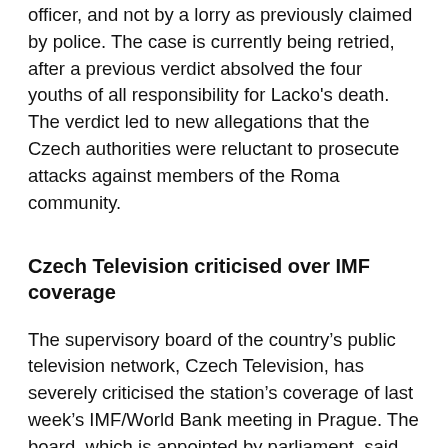officer, and not by a lorry as previously claimed by police. The case is currently being retried, after a previous verdict absolved the four youths of all responsibility for Lacko’s death. The verdict led to new allegations that the Czech authorities were reluctant to prosecute attacks against members of the Roma community.
Czech Television criticised over IMF coverage
The supervisory board of the country’s public television network, Czech Television, has severely criticised the station’s coverage of last week’s IMF/World Bank meeting in Prague. The board, which is appointed by parliament, said Czech Television had failed to explain to the public either the policies of the two institutions or the views of its opponents. The station was also